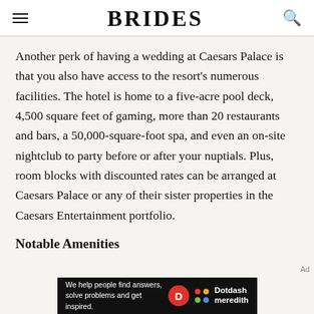BRIDES
Another perk of having a wedding at Caesars Palace is that you also have access to the resort's numerous facilities. The hotel is home to a five-acre pool deck, 4,500 square feet of gaming, more than 20 restaurants and bars, a 50,000-square-foot spa, and even an on-site nightclub to party before or after your nuptials. Plus, room blocks with discounted rates can be arranged at Caesars Palace or any of their sister properties in the Caesars Entertainment portfolio.
Notable Amenities
[Figure (other): Dotdash Meredith advertisement banner with text 'We help people find answers, solve problems and get inspired.' and Dotdash Meredith logo]